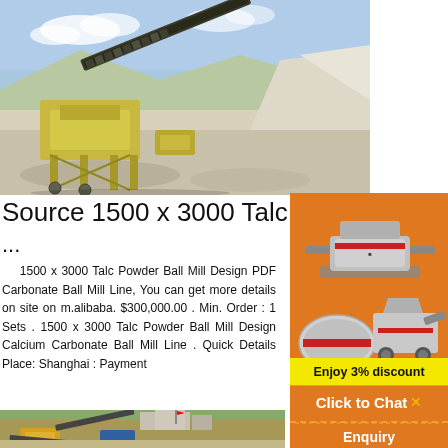[Figure (photo): Outdoor mining/quarry scene with industrial conveyor belt machinery, yellow equipment, white/grey rocky terrain and blue sky with clouds]
Source 1500 x 3000 Talc Powder Ball M...
...
1500 x 3000 Talc Powder Ball Mill Design PDF Carbonate Ball Mill Line, You can get more details on site on m.alibaba. $300,000.00 . Min. Order : 1 Sets . 1500 x 3000 Talc Powder Ball Mill Design Calcium Carbonate Ball Mill Line . Quick Details Place: Shanghai : Payment
[Figure (photo): Outdoor industrial quarry/mining site with yellow and blue machinery, conveyor belts, buildings and green hills in background]
[Figure (illustration): Orange sidebar with images of three industrial machines/crushers on orange background]
Enjoy 3% discount
Click to Chat
Enquiry